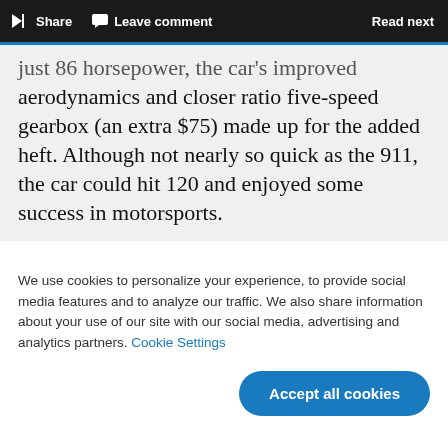Share  Leave comment  Read next
just 86 horsepower, the car's improved aerodynamics and closer ratio five-speed gearbox (an extra $75) made up for the added heft. Although not nearly so quick as the 911, the car could hit 120 and enjoyed some success in motorsports.
We use cookies to personalize your experience, to provide social media features and to analyze our traffic. We also share information about your use of our site with our social media, advertising and analytics partners. Cookie Settings
Accept all cookies